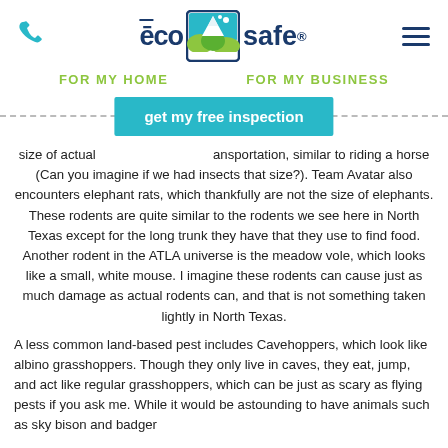eco safe® — phone icon, menu icon
FOR MY HOME    FOR MY BUSINESS
get my free inspection
size of actual [transportation], similar to riding a horse (Can you imagine if we had insects that size?). Team Avatar also encounters elephant rats, which thankfully are not the size of elephants. These rodents are quite similar to the rodents we see here in North Texas except for the long trunk they have that they use to find food. Another rodent in the ATLA universe is the meadow vole, which looks like a small, white mouse. I imagine these rodents can cause just as much damage as actual rodents can, and that is not something taken lightly in North Texas.
A less common land-based pest includes Cavehoppers, which look like albino grasshoppers. Though they only live in caves, they eat, jump, and act like regular grasshoppers, which can be just as scary as flying pests if you ask me. While it would be astounding to have animals such as sky bison and badger